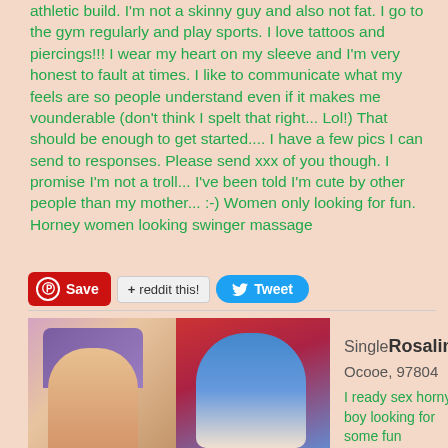athletic build. I'm not a skinny guy and also not fat. I go to the gym regularly and play sports. I love tattoos and piercings!!! I wear my heart on my sleeve and I'm very honest to fault at times. I like to communicate what my feels are so people understand even if it makes me vounderable (don't think I spelt that right... Lol!) That should be enough to get started.... I have a few pics I can send to responses. Please send xxx of you though. I promise I'm not a troll... I've been told I'm cute by other people than my mother... :-) Women only looking for fun. Horney women looking swinger massage
[Figure (screenshot): Pinterest Save button, Reddit button, Tweet button]
[Figure (photo): Two photos of women side by side]
SingleRosalind
Ocooe, 97804
I ready sex horny boy looking for some fun
Wm i eat pussy any agesize inside. I'm hungry I love to eat pussy. I love the taste and I love to make women